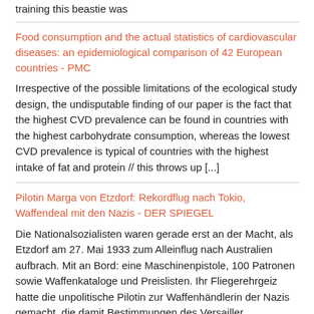training this beastie was
Food consumption and the actual statistics of cardiovascular diseases: an epidemiological comparison of 42 European countries - PMC
Irrespective of the possible limitations of the ecological study design, the undisputable finding of our paper is the fact that the highest CVD prevalence can be found in countries with the highest carbohydrate consumption, whereas the lowest CVD prevalence is typical of countries with the highest intake of fat and protein // this throws up [...]
Pilotin Marga von Etzdorf: Rekordflug nach Tokio, Waffendeal mit den Nazis - DER SPIEGEL
Die Nationalsozialisten waren gerade erst an der Macht, als Etzdorf am 27. Mai 1933 zum Alleinflug nach Australien aufbrach. Mit an Bord: eine Maschinenpistole, 100 Patronen sowie Waffenkataloge und Preislisten. Ihr Fliegerehrgeiz hatte die unpolitische Pilotin zur Waffenhändlerin der Nazis gemacht, die damit Bestimmungen des Versailler Friedensvertrags brach.